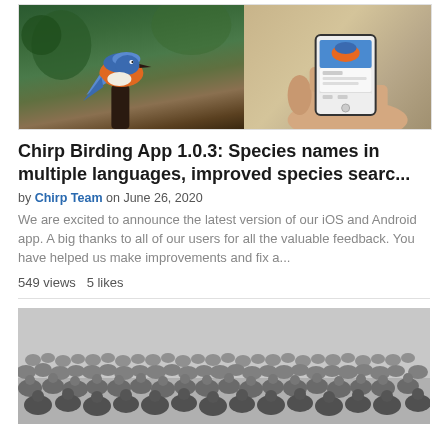[Figure (photo): Kingfisher bird perched on a branch (left) and a person holding a phone showing the bird photo and a tweet (right)]
Chirp Birding App 1.0.3: Species names in multiple languages, improved species searc...
by Chirp Team on June 26, 2020
We are excited to announce the latest version of our iOS and Android app. A big thanks to all of our users for all the valuable feedback. You have helped us make improvements and fix a...
549 views  5 likes
[Figure (photo): Large flock of shorebirds/sandpipers crowded together on the ground]